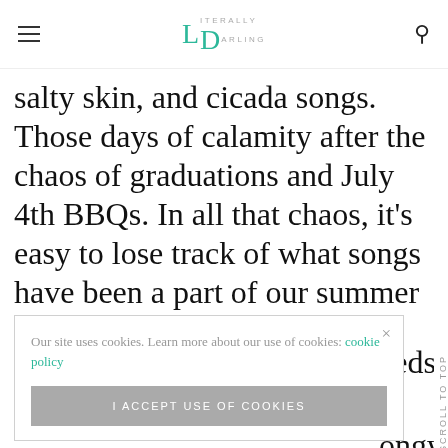Literally Darling (logo/nav bar)
salty skin, and cicada songs. Those days of calamity after the chaos of graduations and July 4th BBQs. In all that chaos, it’s easy to lose track of what songs have been a part of our summer soundtracks.
Our site uses cookies. Learn more about our use of cookies: cookie policy
I ACCEPT USE OF COOKIES
eeds to
ongwriter
But wha
Scroll To Top